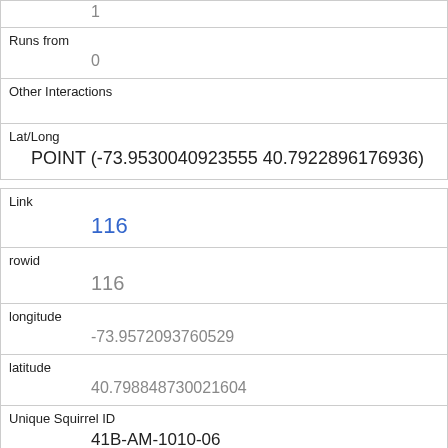| 1 |
| Runs from | 0 |
| Other Interactions |  |
| Lat/Long | POINT (-73.9530040923555 40.7922896176936) |
| Link | 116 |
| rowid | 116 |
| longitude | -73.9572093760529 |
| latitude | 40.798848730021604 |
| Unique Squirrel ID | 41B-AM-1010-06 |
| Hectare | 41B |
| Shift |  |